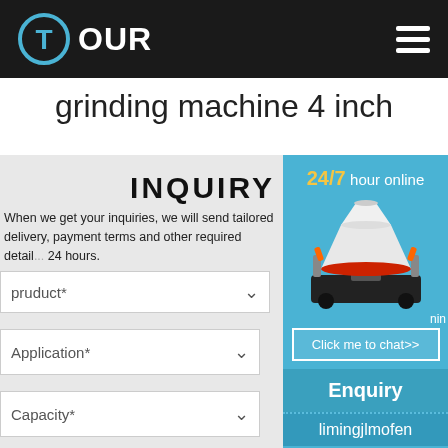T OUR
grinding machine 4 inch
INQUIRY
When we get your inquiries, we will send tailored delivery, payment terms and other required detail 24 hours.
[Figure (screenshot): Web inquiry form with product, application, and capacity dropdowns on a gray background]
[Figure (infographic): Blue sidebar panel showing 24/7 hour online text, cone crusher machine image, Click me to chat button, Enquiry section, and limingjlmofen text]